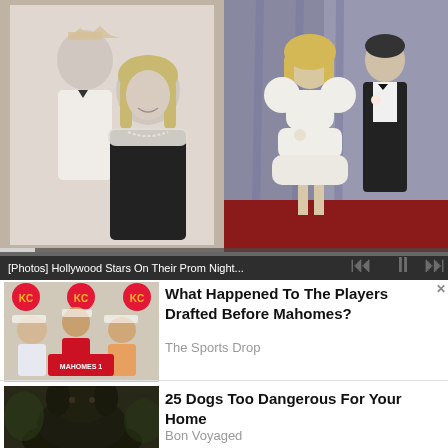[Figure (photo): Screenshot of a media player showing two prom/formal photos side by side. Left: black and white photo of a couple in formal wear with woman wearing a tiara. Right: color photo of a couple in formal wear. Media player controls (skip back, pause, skip forward) visible at bottom right. Progress bar at bottom. Caption bar partially visible at bottom.]
[Figure (photo): Thumbnail photo of Kansas City Chiefs press conference/draft event showing people holding a Mahomes jersey]
What Happened To The Players Drafted Before Mahomes?
The Sports Drop
[Figure (photo): Thumbnail photo of a large black dog]
25 Dogs Too Dangerous For Your Home
Bon Voyaged